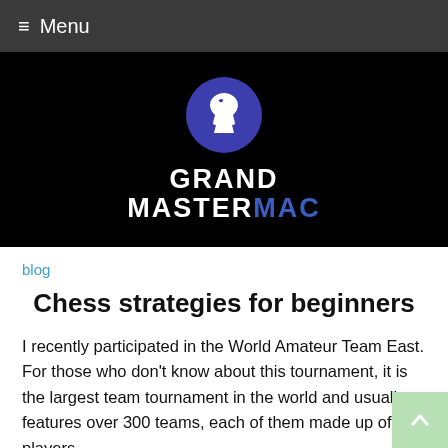≡ Menu
[Figure (logo): Grand Master Mac logo: purple circle with white chess knight silhouette, below text GRANDMASTER in white bold, MAC in blue bold]
blog
Chess strategies for beginners
I recently participated in the World Amateur Team East. For those who don't know about this tournament, it is the largest team tournament in the world and usually features over 300 teams, each of them made up of 4 players...